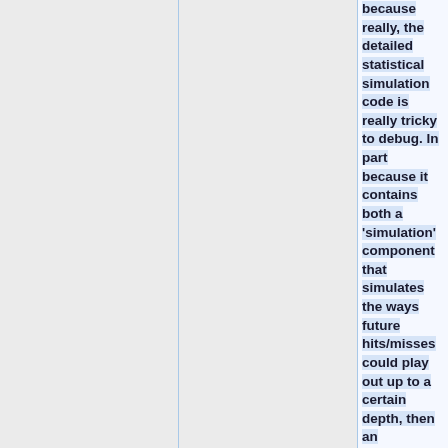because really, the detailed statistical simulation code is really tricky to debug. In part because it contains both a 'simulation' component that simulates the ways future hits/misses could play out up to a certain depth, then an 'estimator' part that is active when the depth limit is reached, and checking both to make sure both